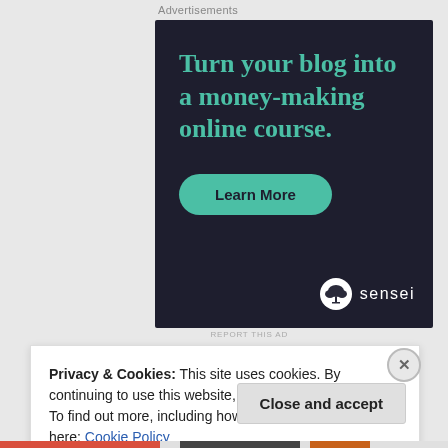Advertisements
[Figure (illustration): Dark-background advertisement for Sensei online course platform. Headline reads 'Turn your blog into a money-making online course.' with a teal 'Learn More' button and the Sensei logo (bonsai tree icon) in the bottom right.]
REPORT THIS AD
Privacy & Cookies: This site uses cookies. By continuing to use this website, you agree to their use.
To find out more, including how to control cookies, see here: Cookie Policy
Close and accept